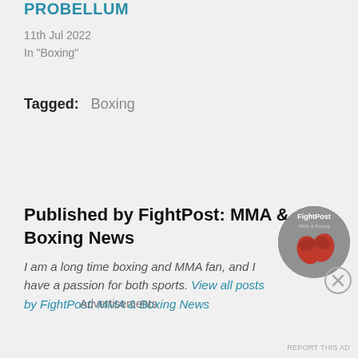PROBELLUM
11th Jul 2022
In "Boxing"
Tagged:   Boxing
Published by FightPost: MMA & Boxing News
I am a long time boxing and MMA fan, and I have a passion for both sports. View all posts by FightPost: MMA & Boxing News
[Figure (photo): Circular avatar image for FightPost: MMA & Boxing News showing boxing gloves on a grey textured background with site name overlay]
Advertisements
REPORT THIS AD